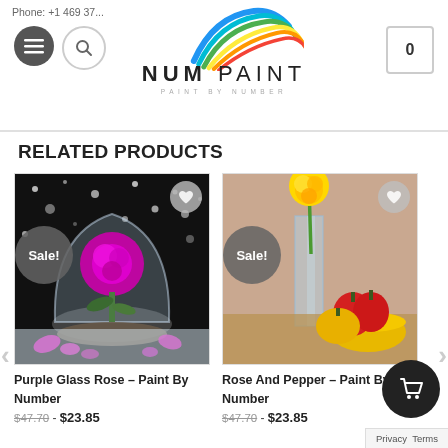NUM PAINT — PAINT BY NUMBER | Phone: +1 469 37...
RELATED PRODUCTS
[Figure (photo): Purple rose in a glass dome on a dark snowy background with rose petals, with a Sale badge]
Purple Glass Rose – Paint By Number
$47.70 - $23.85
[Figure (photo): Yellow rose in a glass vase next to red and yellow peppers in a yellow bowl on a beige background, with a Sale badge]
Rose And Pepper – Paint By Number
$47.70 - $23.85
Privacy  Terms